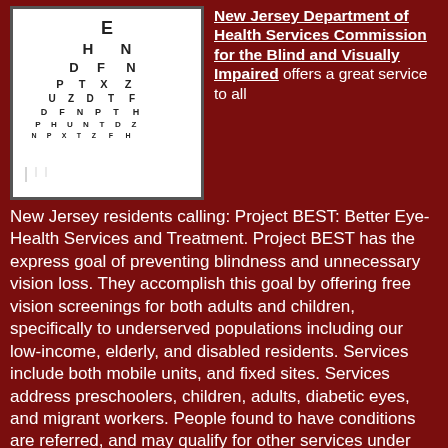[Figure (photo): Eye chart (Snellen chart) with rows of letters getting progressively smaller, white background with black letters.]
New Jersey Department of Health Services Commission for the Blind and Visually Impaired offers a great service to all New Jersey residents calling: Project BEST: Better Eye-Health Services and Treatment. Project BEST has the express goal of preventing blindness and unnecessary vision loss. They accomplish this goal by offering free vision screenings for both adults and children, specifically to underserved populations including our low-income, elderly, and disabled residents. Services include both mobile units, and fixed sites. Services address preschoolers, children, adults, diabetic eyes, and migrant workers. People found to have conditions are referred, and may qualify for other services under the commission. Project BEST also provides follow-up services to individuals who need further eye evaluations or eye care services, and who have no health insurance and do not